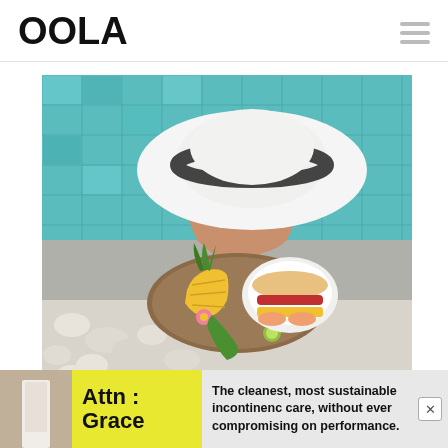OOLA
[Figure (photo): Overhead view of a woman in a wide-brimmed white hat with a dark band, leaning on a pool edge with teal tiled water behind her. Two colorful fruit/acai bowls on a wooden board are placed on the pool ledge beside her.]
MediterraneandietforallCom
The cleanest, most sustainable incontinence care, without ever compromising on performance.